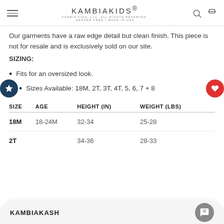KAMBIAKIDS® KAMBIA KIDS, LLC. ALL RIGHTS RESERVED. GENDER FREE | MADE IN USA
Our garments have a raw edge detail but clean finish. This piece is not for resale and is exclusively sold on our site.
SIZING:
Fits for an oversized look.
Sizes Available: 18M, 2T, 3T, 4T, 5, 6, 7 + 8
| SIZE | AGE | HEIGHT (IN) | WEIGHT (LBS) |
| --- | --- | --- | --- |
| 18M | 18-24M | 32-34 | 25-28 |
| 2T |  | 34-36 | 28-33 |